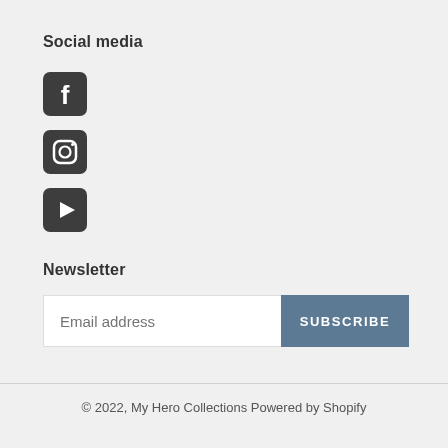Social media
[Figure (illustration): Facebook, Instagram, and YouTube social media icons in dark rounded square style]
Newsletter
[Figure (other): Email address input field with SUBSCRIBE button]
© 2022, My Hero Collections Powered by Shopify